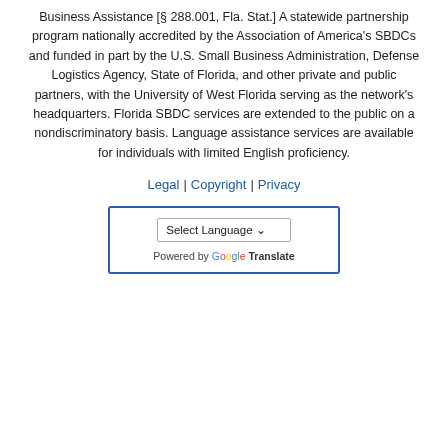Business Assistance [§ 288.001, Fla. Stat.] A statewide partnership program nationally accredited by the Association of America's SBDCs and funded in part by the U.S. Small Business Administration, Defense Logistics Agency, State of Florida, and other private and public partners, with the University of West Florida serving as the network's headquarters. Florida SBDC services are extended to the public on a nondiscriminatory basis. Language assistance services are available for individuals with limited English proficiency.
Legal | Copyright | Privacy
[Figure (other): Google Translate widget box with 'Select Language' dropdown and 'Powered by Google Translate' text]